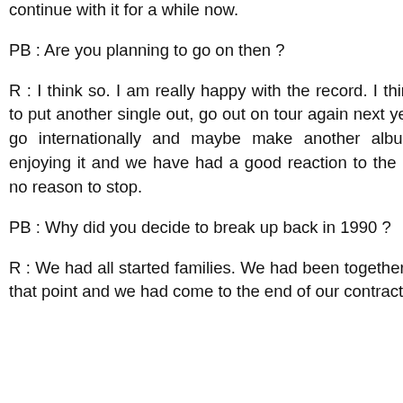continue with it for a while now.
PB : Are you planning to go on then ?
R : I think so. I am really happy with the record. I think we are going to put another single out, go out on tour again next year, give it a real go internationally and maybe make another album. I am really enjoying it and we have had a good reaction to the record. There is no reason to stop.
PB : Why did you decide to break up back in 1990 ?
R : We had all started families. We had been together for ten years at that point and we had come to the end of our contract with RCA. I